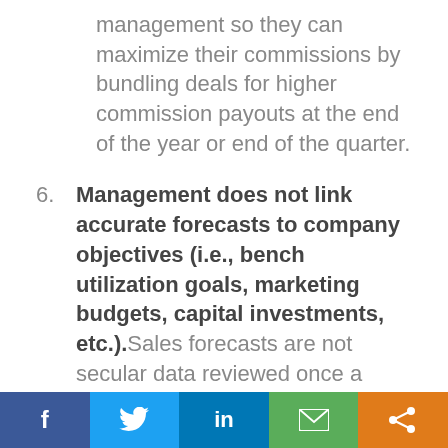management so they can maximize their commissions by bundling deals for higher commission payouts at the end of the year or end of the quarter.
6. Management does not link accurate forecasts to company objectives (i.e., bench utilization goals, marketing budgets, capital investments, etc.). Sales forecasts are not secular data reviewed once a week in a sales meeting. It is a living...
f  [Twitter bird]  in  [email]  [share]